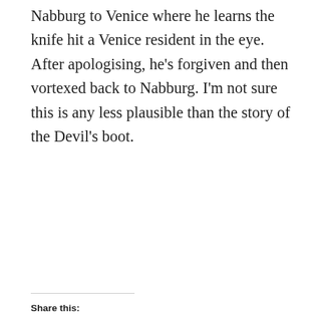Nabburg to Venice where he learns the knife hit a Venice resident in the eye. After apologising, he’s forgiven and then vortexed back to Nabburg. I’m not sure this is any less plausible than the story of the Devil’s boot.
Share this:
[Figure (other): Share button with share icon]
Loading…
Related
[Figure (photo): Two thumbnail photos side by side — left shows a church steeple against sky, right shows a half-timbered building with flowering plants]